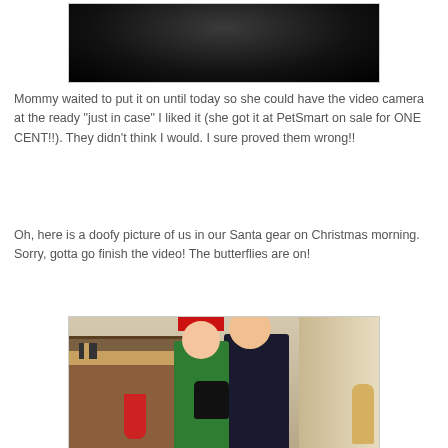[Figure (photo): Close-up photo of a black cat or dark-furred animal, cropped at top]
Mommy waited to put it on until today so she could have the video camera at the ready "just in case" I liked it (she got it at PetSmart on sale for ONE CENT!!). They didn't think I would. I sure proved them wrong!!
Oh, here is a doofy picture of us in our Santa gear on Christmas morning. Sorry, gotta go finish the video! The butterflies are on!
[Figure (photo): A couple wearing Santa hats holding a black cat dressed in a Santa outfit, standing in front of a decorated fireplace with Christmas stockings and candles on Christmas morning]